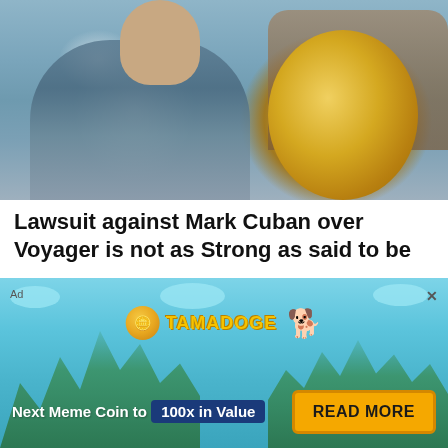[Figure (photo): Man posing with a large gold NBA championship trophy, sitting on a couch]
Lawsuit against Mark Cuban over Voyager is not as Strong as said to be
Yugocean
8 hours ago
1 minute read
[Figure (infographic): Ad banner for Tamadoge cryptocurrency: 'Next Meme Coin to 100x in Value' with READ MORE button]